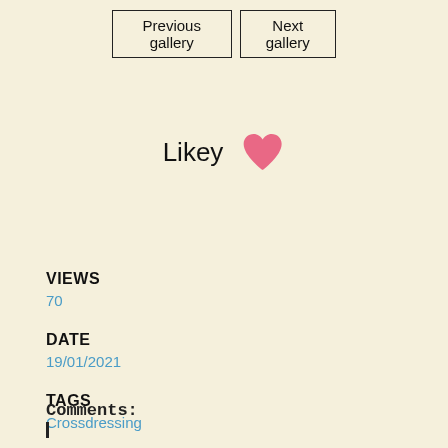Previous gallery | Next gallery
Likey ♥
VIEWS
70
DATE
19/01/2021
TAGS
Crossdressing
Comments: